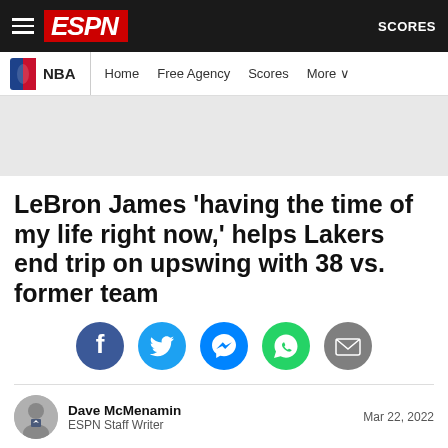ESPN — NBA | Home | Free Agency | Scores | More | SCORES
[Figure (other): Gray advertisement banner placeholder]
LeBron James 'having the time of my life right now,' helps Lakers end trip on upswing with 38 vs. former team
[Figure (infographic): Social sharing icons: Facebook, Twitter, Messenger, WhatsApp, Email]
Dave McMenamin — ESPN Staff Writer — Mar 22, 2022